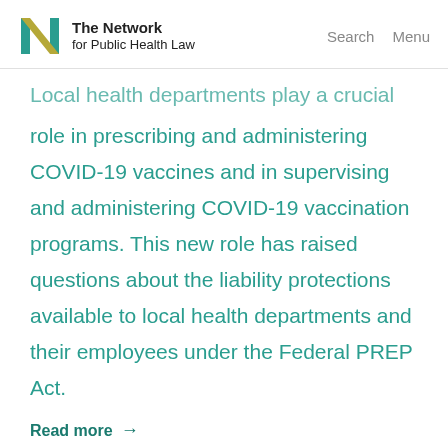The Network for Public Health Law | Search | Menu
Local health departments play a crucial role in prescribing and administering COVID-19 vaccines and in supervising and administering COVID-19 vaccination programs. This new role has raised questions about the liability protections available to local health departments and their employees under the Federal PREP Act.
Read more →